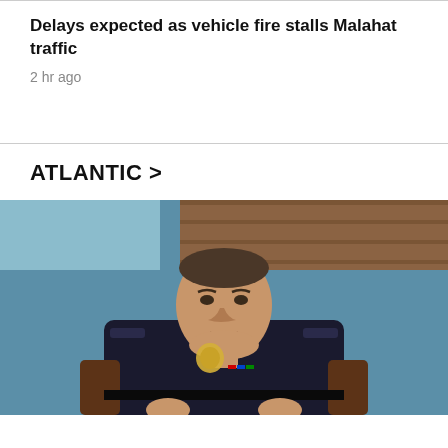Delays expected as vehicle fire stalls Malahat traffic
2 hr ago
ATLANTIC >
[Figure (photo): A police officer in dark uniform with badge and medal ribbons, seated in a brown leather chair, appearing to speak, with a blue wall and wooden panel backdrop behind him.]